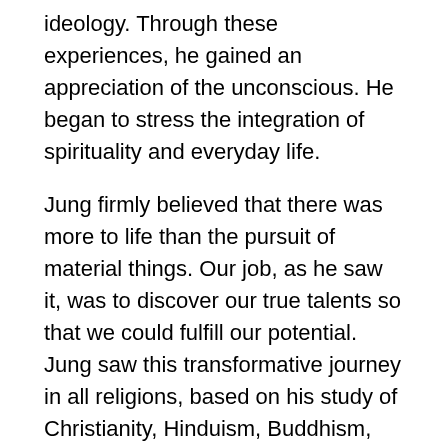ideology. Through these experiences, he gained an appreciation of the unconscious. He began to stress the integration of spirituality and everyday life.
Jung firmly believed that there was more to life than the pursuit of material things. Our job, as he saw it, was to discover our true talents so that we could fulfill our potential. Jung saw this transformative journey in all religions, based on his study of Christianity, Hinduism, Buddhism, Gnosticism, Taoism, and many others. As we walk to meet the Divine, we go forth to meet ourselves.
In order in order to begin this journey, it is essential to understand the symbolic power of archetypes. Meditation, doodling, viewing art, even auditory stimuli can help us to access the collective unconscious, that Akashic records, and unlock